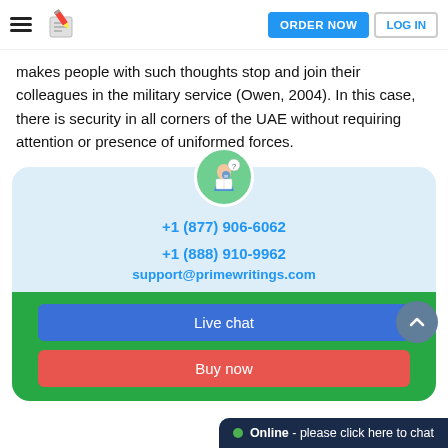ORDER NOW  LOG IN
makes people with such thoughts stop and join their colleagues in the military service (Owen, 2004). In this case, there is security in all corners of the UAE without requiring attention or presence of uniformed forces.
[Figure (infographic): Contact card with avatar, phone numbers +1 (877) 906-6062 and +1 (888) 910-9962, email support@primewritings.com, Live chat button, Buy now button, scroll-to-top button, and Online chat bar]
Online - please click here to chat